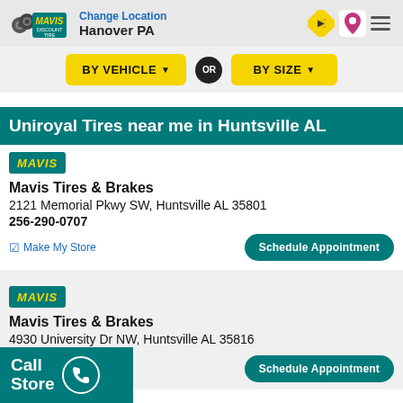Change Location | Hanover PA
BY VEHICLE ▼  OR  BY SIZE ▼
Uniroyal Tires near me in Huntsville AL
[Figure (logo): Mavis Discount Tire logo badge, teal background with yellow italic MAVIS text]
Mavis Tires & Brakes
2121 Memorial Pkwy SW, Huntsville AL 35801
256-290-0707
✓ Make My Store   Schedule Appointment
[Figure (logo): Mavis Discount Tire logo badge, teal background with yellow italic MAVIS text]
Mavis Tires & Brakes
4930 University Dr NW, Huntsville AL 35816
Call Store   Schedule Appointment